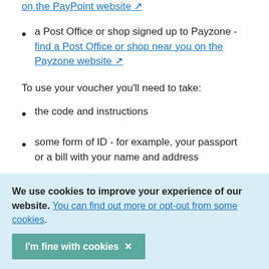a Post Office or shop signed up to Payzone - find a Post Office or shop near you on the Payzone website [link icon]
To use your voucher you'll need to take:
the code and instructions
some form of ID - for example, your passport or a bill with your name and address
You must use your fuel voucher within 3 months after you apply.
If you have problems using your voucher, contact the issuer listed to you - you should be able to find their contact information on the instructions.
We use cookies to improve your experience of our website. You can find out more or opt-out from some cookies.